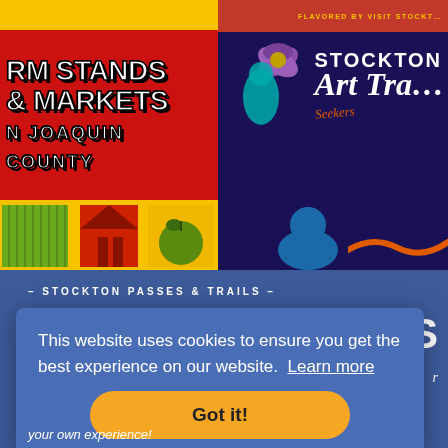[Figure (illustration): Top banner split into two illustrated panels. Left panel: yellow top strip, red background with 'Farm Stands & Markets San Joaquin County' in bold white/outlined text, bottom strip with colorful icon blocks (green vegetable strips, red barn, green apple on yellow). Right panel: red top strip with 'Flavored by Visit Stockton' text in yellow, dark navy background with illustrated figures, flowers, and 'Stockton Art Trail Seekers' text in white and orange.]
– STOCKTON PASSES & TRAILS –
This website uses cookies to ensure you get the best experience on our website. Learn more
Got it!
your own experience!